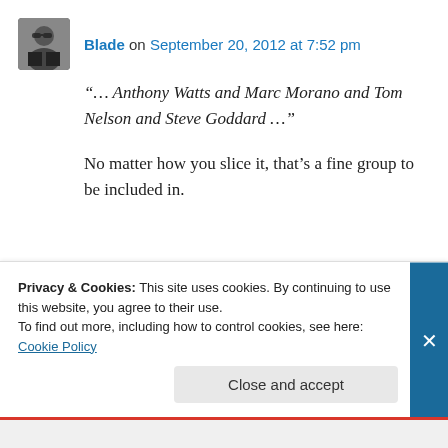[Figure (photo): Avatar photo of user Blade — a person wearing sunglasses and a dark jacket]
Blade on September 20, 2012 at 7:52 pm
“… Anthony Watts and Marc Morano and Tom Nelson and Steve Goddard …”
No matter how you slice it, that’s a fine group to be included in.
↳ Reply
Privacy & Cookies: This site uses cookies. By continuing to use this website, you agree to their use.
To find out more, including how to control cookies, see here: Cookie Policy
Close and accept